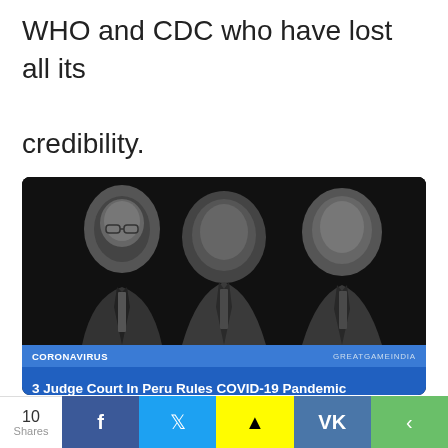WHO and CDC who have lost all its credibility.
[Figure (photo): Black and white photo of three elderly men in suits (Bill Gates, David Rockefeller, George Soros) with a news article overlay banner reading: CORONAVIRUS | GREATGAMEINDIA | 3 Judge Court In Peru Rules COVID-19 Pandemic Started By Bill Gates, George Soros And Rockefeller]
On December 21, 2020, a three judge